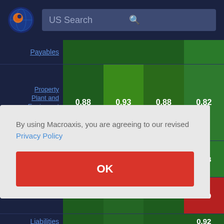[Figure (screenshot): Macroaxis website navigation bar with logo and US Search bar]
|  | Col1 | Col2 | Col3 | Col4 |
| --- | --- | --- | --- | --- |
| Payables |  |  |  |  |
| Property Plant and Equipment Net | 0.88 | 0.93 | 0.88 | 0.82 |
| (partial row) |  |  |  | 0.78 |
| (partial row) |  |  |  | 0.59 |
| Liabilities |  |  |  | 0.92 |
By using Macroaxis, you are agreeing to our revised Privacy Policy
OK